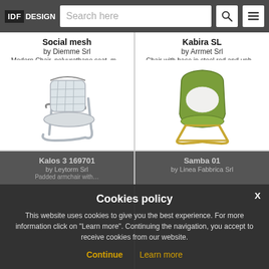IDF DESIGN — Search here
Social mesh
by Diemme Srl
Modern Chair, polyurethane seat, m…
[Figure (photo): Modern office cantilever chair with mesh back and chrome frame]
Kabira SL
by Arrmet Srl
Chair with base in steel rod and uph…
[Figure (photo): Green upholstered shell chair with gold sled base]
Kalos 3 169701
by Leytorm Srl
Padded armchair with…
Samba 01
by Linea Fabbrica Srl
Cookies policy
This website uses cookies to give you the best experience. For more information click on "Learn more". Continuing the navigation, you accept to receive cookies from our website.
Continue   Learn more